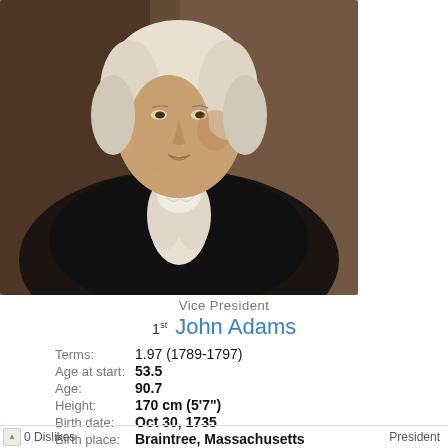[Figure (photo): Portrait painting of John Adams, shown from chest up, wearing a dark coat with white ruffled shirt/cravat, white powdered hair, against a dark brown background]
Vice President
1st  John Adams
Terms:  1.97 (1789-1797)
Age at start:  53.5
Age:  90.7
Height:  170 cm (5'7")
Birth date:  Oct 30, 1735
Birth place:  Braintree, Massachusetts
Death date:  Jul 04, 1826
[Figure (illustration): Handwritten signature of John Adams in cursive script]
0 Dislikes